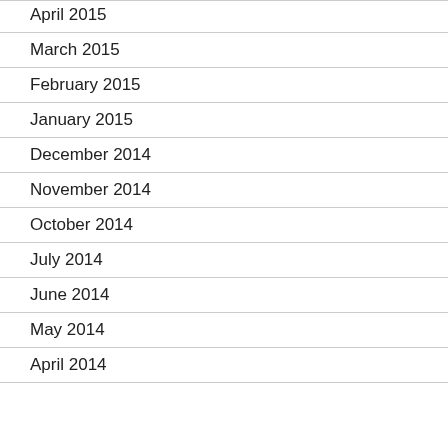April 2015
March 2015
February 2015
January 2015
December 2014
November 2014
October 2014
July 2014
June 2014
May 2014
April 2014